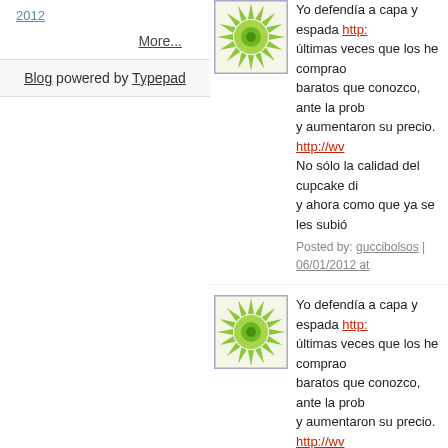2012
More...
Blog powered by Typepad
[Figure (illustration): Green sunburst avatar icon with circular center]
Yo defendía a capa y espada http:// últimas veces que los he comprao baratos que conozco, ante la prob y aumentaron su precio. http://wv No sólo la calidad del cupcake di y ahora como que ya se les subió
Posted by: guccibolsos | 06/01/2012 at
[Figure (illustration): Green sunburst avatar icon with circular center]
Yo defendía a capa y espada http:// últimas veces que los he comprao baratos que conozco, ante la prob y aumentaron su precio. http://wv No sólo la calidad del cupcake di y ahora como que ya se les subió
Posted by: guccibolsos | 06/01/2012 at
[Figure (illustration): Light blue network/map avatar icon]
A man can fail many times, but h 1. Burroughs. American naturaliz